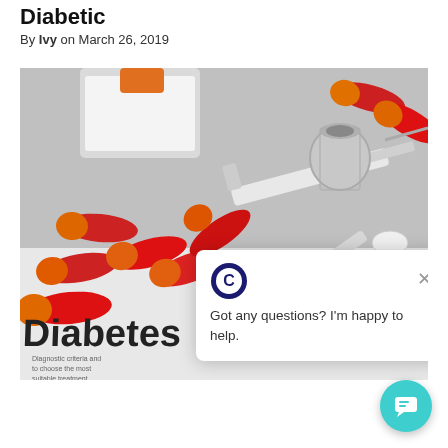Diabetic
By Ivy on March 26, 2019
[Figure (photo): Photo of red and orange medication capsules, insulin vials, syringes, and a medical paper with 'Diabetes' printed on it, overlaid with a chat popup widget.]
Got any questions? I'm happy to help.